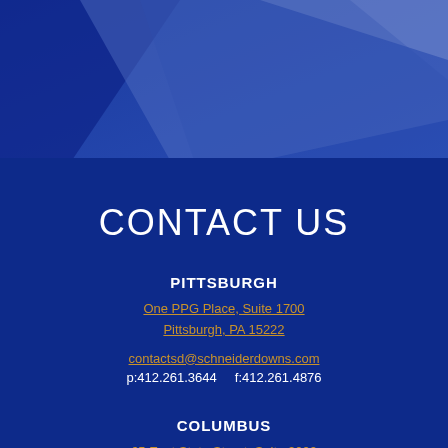[Figure (illustration): Blue geometric abstract header graphic with diagonal shapes in shades of blue and light blue]
CONTACT US
PITTSBURGH
One PPG Place, Suite 1700
Pittsburgh, PA 15222
contactsd@schneiderdowns.com
p:412.261.3644     f:412.261.4876
COLUMBUS
65 East State Street, Suite 2000